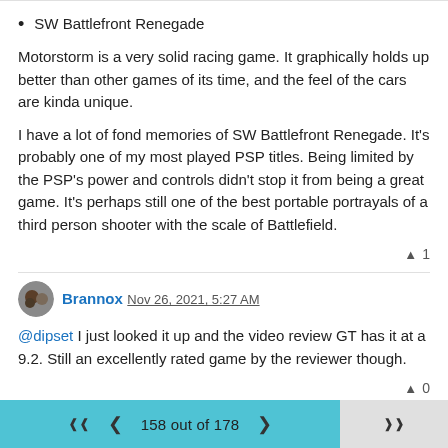SW Battlefront Renegade
Motorstorm is a very solid racing game. It graphically holds up better than other games of its time, and the feel of the cars are kinda unique.
I have a lot of fond memories of SW Battlefront Renegade. It's probably one of my most played PSP titles. Being limited by the PSP's power and controls didn't stop it from being a great game. It's perhaps still one of the best portable portrayals of a third person shooter with the scale of Battlefield.
▲ 1
Brannox Nov 26, 2021, 5:27 AM
@dipset I just looked it up and the video review GT has it at a 9.2. Still an excellently rated game by the reviewer though.
▲ 0
158 out of 178